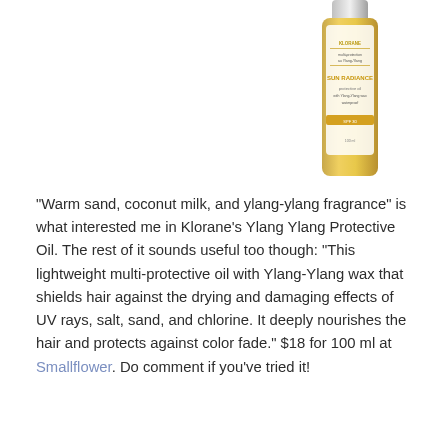[Figure (photo): A bottle of Klorane Sun Radiance Protective Oil with Ylang-Ylang, gold/white packaging, partially cropped at top of page]
"Warm sand, coconut milk, and ylang-ylang fragrance" is what interested me in Klorane's Ylang Ylang Protective Oil. The rest of it sounds useful too though: "This lightweight multi-protective oil with Ylang-Ylang wax that shields hair against the drying and damaging effects of UV rays, salt, sand, and chlorine. It deeply nourishes the hair and protects against color fade." $18 for 100 ml at Smallflower. Do comment if you've tried it!
Filed Under: scented body products
Tagged With: hair care, lemming